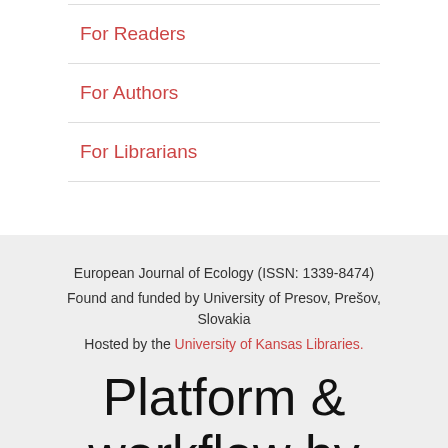For Readers
For Authors
For Librarians
European Journal of Ecology (ISSN: 1339-8474)
Found and funded by University of Presov, Prešov, Slovakia
Hosted by the University of Kansas Libraries.
Platform & workflow by